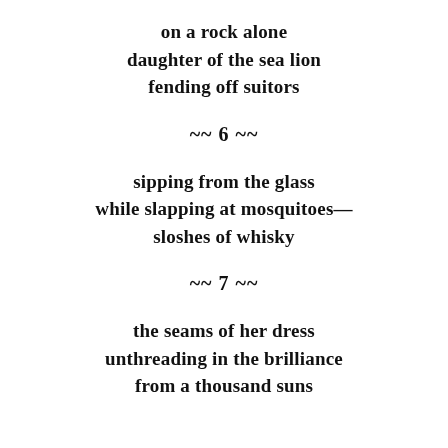on a rock alone
daughter of the sea lion
fending off suitors
~~ 6 ~~
sipping from the glass
while slapping at mosquitoes—
sloshes of whisky
~~ 7 ~~
the seams of her dress
unthreading in the brilliance
from a thousand suns